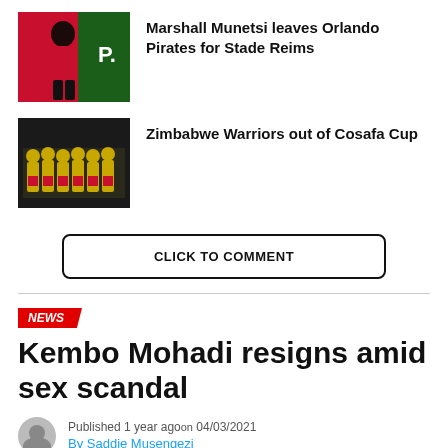[Figure (photo): Photo of Marshall Munetsi in red football kit]
Marshall Munetsi leaves Orlando Pirates for Stade Reims
[Figure (photo): Photo of Zimbabwe Warriors football team in yellow and green kit]
Zimbabwe Warriors out of Cosafa Cup
CLICK TO COMMENT
NEWS
Kembo Mohadi resigns amid sex scandal
Published 1 year agoon 04/03/2021